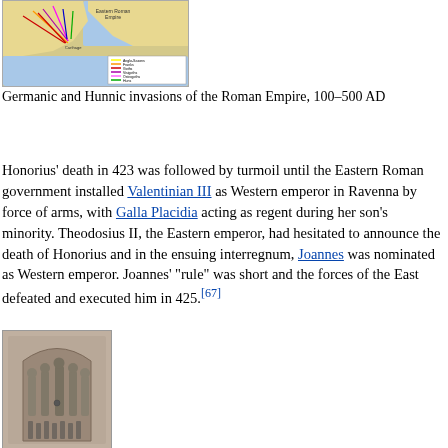[Figure (map): Map showing Germanic and Hunnic invasions of the Roman Empire with colored arrows and legend showing Anglo-Saxons, Franks, Goths, Visigoths, Ostrogoths, Huns, Vandals, Gauts]
Germanic and Hunnic invasions of the Roman Empire, 100–500 AD
Honorius' death in 423 was followed by turmoil until the Eastern Roman government installed Valentinian III as Western emperor in Ravenna by force of arms, with Galla Placidia acting as regent during her son's minority. Theodosius II, the Eastern emperor, had hesitated to announce the death of Honorius and in the ensuing interregnum, Joannes was nominated as Western emperor. Joannes' "rule" was short and the forces of the East defeated and executed him in 425.[67]
[Figure (photo): Ancient carved wooden or stone relief sculpture showing multiple standing figures arranged in a group]